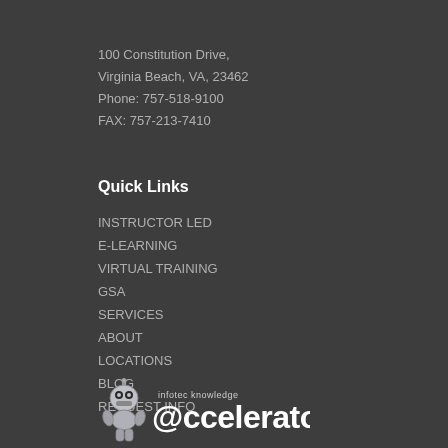100 Constitution Drive,
Virginia Beach, VA, 23462
Phone: 757-518-9100
FAX: 757-213-7410
Quick Links
INSTRUCTOR LED
E-LEARNING
VIRTUAL TRAINING
GSA
SERVICES
ABOUT
LOCATIONS
BLOG
REQUEST INFO
[Figure (logo): infotec knowledge @ccelerator logo with robot mascot]